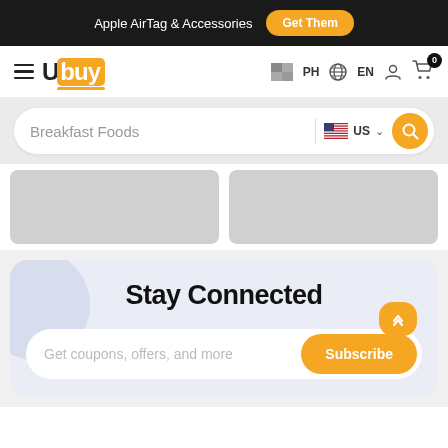Apple AirTag & Accessories  Get Them
[Figure (logo): Ubuy logo with hamburger menu, PH flag, EN language selector, user icon, and cart icon with badge 0]
Breakfast Foods  US
[Figure (photo): Two gray placeholder product image boxes]
Stay Connected
Get coupons, offers, and more
Subscribe